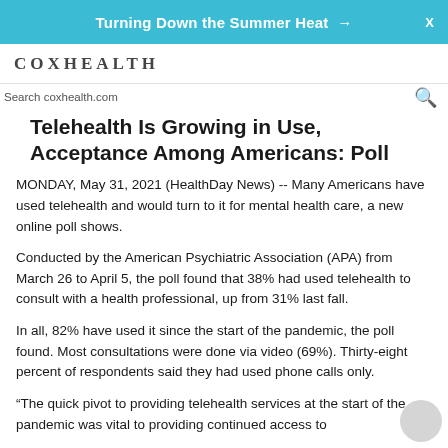Turning Down the Summer Heat →  X
[Figure (logo): CoxHealth logo text in uppercase serif letters]
Search coxhealth.com
Telehealth Is Growing in Use, Acceptance Among Americans: Poll
MONDAY, May 31, 2021 (HealthDay News) -- Many Americans have used telehealth and would turn to it for mental health care, a new online poll shows.
Conducted by the American Psychiatric Association (APA) from March 26 to April 5, the poll found that 38% had used telehealth to consult with a health professional, up from 31% last fall.
In all, 82% have used it since the start of the pandemic, the poll found. Most consultations were done via video (69%). Thirty-eight percent of respondents said they had used phone calls only.
“The quick pivot to providing telehealth services at the start of the pandemic was vital to providing continued access to